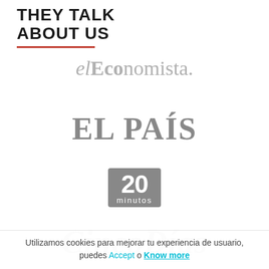THEY TALK ABOUT US
[Figure (logo): elEconomista newspaper logo in gray]
[Figure (logo): EL PAÍS newspaper logo in gray bold serif]
[Figure (logo): 20 minutos newspaper logo — white text on gray rounded rectangle]
[Figure (logo): Cinco Días newspaper logo in gray italic serif, partially cropped]
Utilizamos cookies para mejorar tu experiencia de usuario, puedes Accept o Know more